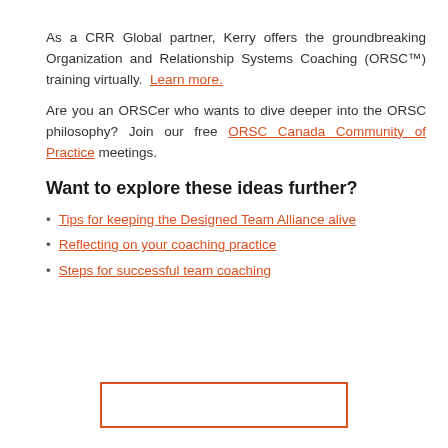As a CRR Global partner, Kerry offers the groundbreaking Organization and Relationship Systems Coaching (ORSC™) training virtually. Learn more.
Are you an ORSCer who wants to dive deeper into the ORSC philosophy? Join our free ORSC Canada Community of Practice meetings.
Want to explore these ideas further?
Tips for keeping the Designed Team Alliance alive
Reflecting on your coaching practice
Steps for successful team coaching
[Figure (other): An orange-bordered empty rectangle button/placeholder at the bottom center of the page]